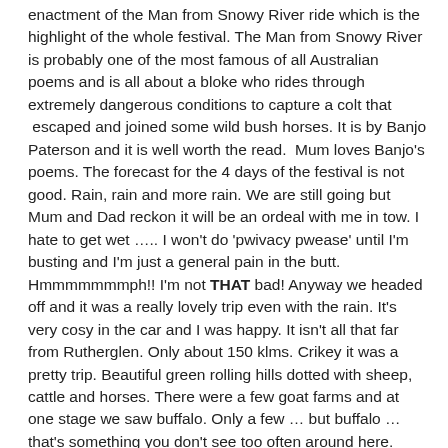enactment of the Man from Snowy River ride which is the highlight of the whole festival. The Man from Snowy River is probably one of the most famous of all Australian poems and is all about a bloke who rides through extremely dangerous conditions to capture a colt that  escaped and joined some wild bush horses. It is by Banjo Paterson and it is well worth the read.  Mum loves Banjo's poems. The forecast for the 4 days of the festival is not good. Rain, rain and more rain. We are still going but Mum and Dad reckon it will be an ordeal with me in tow. I hate to get wet ….. I won't do 'pwivacy pwease' until I'm busting and I'm just a general pain in the butt. Hmmmmmmmph!! I'm not THAT bad! Anyway we headed off and it was a really lovely trip even with the rain. It's very cosy in the car and I was happy. It isn't all that far from Rutherglen. Only about 150 klms. Crikey it was a pretty trip. Beautiful green rolling hills dotted with sheep, cattle and horses. There were a few goat farms and at one stage we saw buffalo. Only a few … but buffalo … that's something you don't see too often around here. There are some farms in the Northern Territory (Crocodile Dundee territory) but not so much anywhere else.  Outback Queensland might have a few too.